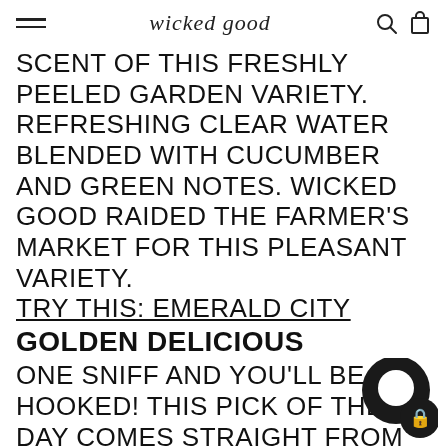wicked good
SCENT OF THIS FRESHLY PEELED GARDEN VARIETY. REFRESHING CLEAR WATER BLENDED WITH CUCUMBER AND GREEN NOTES. WICKED GOOD RAIDED THE FARMER'S MARKET FOR THIS PLEASANT VARIETY. TRY THIS: EMERALD CITY
GOLDEN DELICIOUS
ONE SNIFF AND YOU'LL BE HOOKED! THIS PICK OF THE DAY COMES STRAIGHT FROM THE APPLE ORCHARD, SWEET AND TANGY JUST PICKED SWEETNESS OF MOTHER NATURE'S BEST! TRY THIS: APPLE + OAK